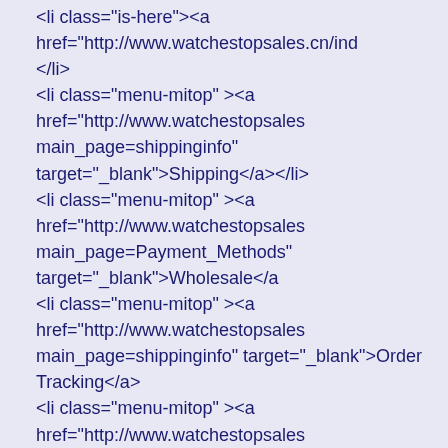<li class="is-here"><a href="http://www.watchestopsales.cn/ind
</li>
<li class="menu-mitop" ><a href="http://www.watchestopsales
main_page=shippinginfo" target="_blank">Shipping</a></li>
<li class="menu-mitop" ><a href="http://www.watchestopsales
main_page=Payment_Methods" target="_blank">Wholesale</a
<li class="menu-mitop" ><a href="http://www.watchestopsales
main_page=shippinginfo" target="_blank">Order Tracking</a>
<li class="menu-mitop" ><a href="http://www.watchestopsales
main_page=Coupons" target="_blank">Coupons</a></li>
<li class="menu-mitop" ><a href="http://www.watchestopsales
main_page=Payment_Methods" target="_blank">Payment Met
<li class="menu-mitop" ><a href="http://www.watchestopsales
main_page=contact_us" target="_blank">Contact Us</a></li>
</ul>
</div>

<div class ="foot-tg" style=" margin-bottom:10px; margin-top:1
text-align:center;">
<ul>
<li class="menu-mitop" ><a href="http://www.1luxurywatch.co
target="_blank">REPLICA OMEGA</a></li>
<li class="menu-mitop" ><a href="http://www.1luxurywatch.co
target="_blank">REPLICA PATEK PHILIPPE</a></li>
<li class="menu-mitop" ><a href="http://www.1luxurywatch.co